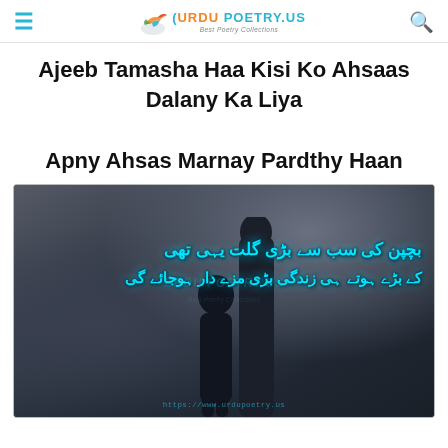≡  URDU POETRY.US Best Poetry Collections  🔍
Ajeeb Tamasha Haa Kisi Ko Ahsaas Dalany Ka Liya
Apny Ahsas Marnay Pardthy Haan
[Figure (photo): Dark moody photo of a child and adult walking, overlaid with Urdu poetry text in cyan/turquoise color and watermark urdupoetry.us]